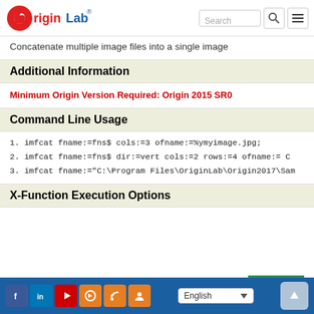OriginLab [logo] Search [search box] [menu]
Concatenate multiple image files into a single image
Additional Information
Minimum Origin Version Required: Origin 2015 SR0
Command Line Usage
1.  imfcat fname:=fns$ cols:=3 ofname:=%ymyimage.jpg;
2.  imfcat fname:=fns$ dir:=vert cols:=2 rows:=4 ofname:= C
3.  imfcat fname:="C:\Program Files\OriginLab\Origin2017\Sam
X-Function Execution Options
Facebook LinkedIn YouTube Settings RSS Group | English | Up